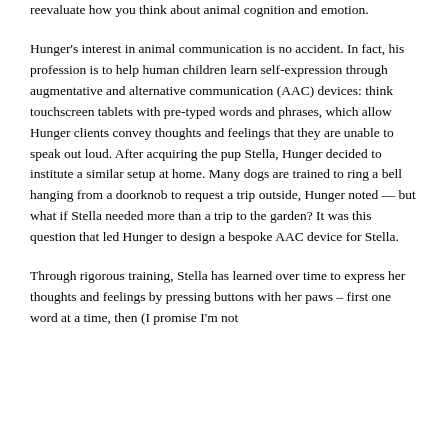reevaluate how you think about animal cognition and emotion.
Hunger's interest in animal communication is no accident. In fact, his profession is to help human children learn self-expression through augmentative and alternative communication (AAC) devices: think touchscreen tablets with pre-typed words and phrases, which allow Hunger clients convey thoughts and feelings that they are unable to speak out loud. After acquiring the pup Stella, Hunger decided to institute a similar setup at home. Many dogs are trained to ring a bell hanging from a doorknob to request a trip outside, Hunger noted — but what if Stella needed more than a trip to the garden? It was this question that led Hunger to design a bespoke AAC device for Stella.
Through rigorous training, Stella has learned over time to express her thoughts and feelings by pressing buttons with her paws – first one word at a time, then (I promise I'm not